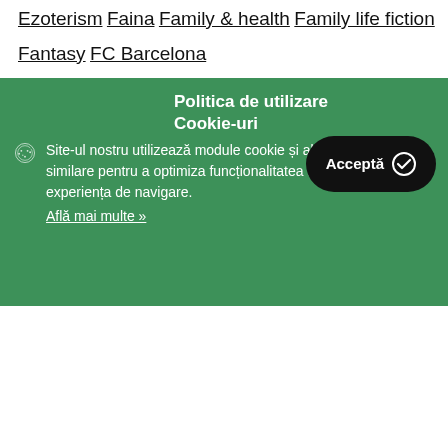Ezoterism
Faina
Family & health
Family life fiction
Fantasy
FC Barcelona
Politica de utilizare Cookie-uri
Site-ul nostru utilizează module cookie și alte tehnologii similare pentru a optimiza funcționalitatea si a îmbunătăți experiența de navigare.
Află mai multe »